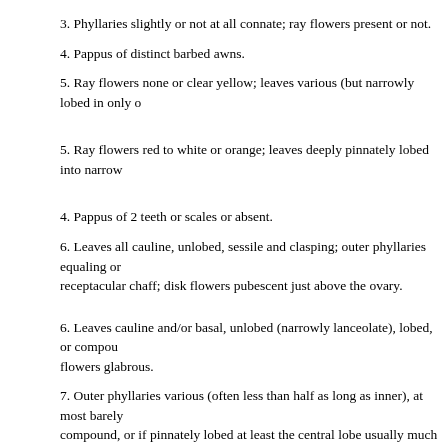3. Phyllaries slightly or not at all connate; ray flowers present or not.
4. Pappus of distinct barbed awns.
5. Ray flowers none or clear yellow; leaves various (but narrowly lobed in only o
5. Ray flowers red to white or orange; leaves deeply pinnately lobed into narrow
4. Pappus of 2 teeth or scales or absent.
6. Leaves all cauline, unlobed, sessile and clasping; outer phyllaries equaling or receptacular chaff; disk flowers pubescent just above the ovary.
6. Leaves cauline and/or basal, unlobed (narrowly lanceolate), lobed, or compou flowers glabrous.
7. Outer phyllaries various (often less than half as long as inner), at most barely compound, or if pinnately lobed at least the central lobe usually much larger tha winged.
7. Outer phyllaries more than half as long as inner, clearly connate at the base (f